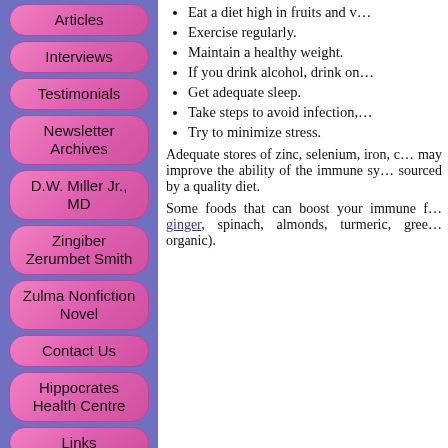Eat a diet high in fruits and v…
Exercise regularly.
Maintain a healthy weight.
If you drink alcohol, drink on…
Get adequate sleep.
Take steps to avoid infection,…
Try to minimize stress.
Adequate stores of zinc, selenium, iron, c… may improve the ability of the immune sy… sourced by a quality diet.
Some foods that can boost your immune f… ginger, spinach, almonds, turmeric, gree… organic).